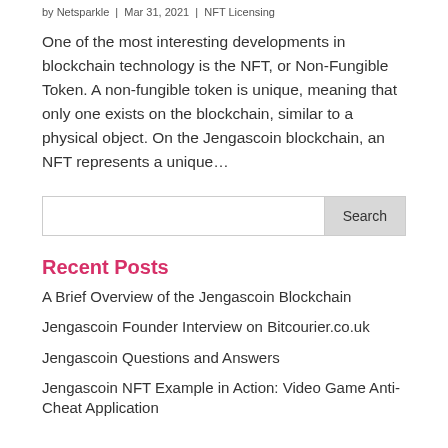by Netsparkle | Mar 31, 2021 | NFT Licensing
One of the most interesting developments in blockchain technology is the NFT, or Non-Fungible Token. A non-fungible token is unique, meaning that only one exists on the blockchain, similar to a physical object. On the Jengascoin blockchain, an NFT represents a unique…
[Figure (other): Search input field with Search button]
Recent Posts
A Brief Overview of the Jengascoin Blockchain
Jengascoin Founder Interview on Bitcourier.co.uk
Jengascoin Questions and Answers
Jengascoin NFT Example in Action: Video Game Anti-Cheat Application